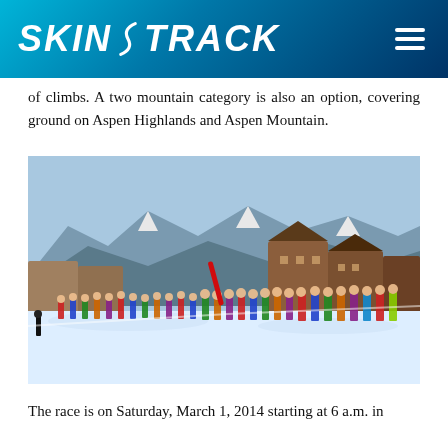SKIN TRACK
of climbs. A two mountain category is also an option, covering ground on Aspen Highlands and Aspen Mountain.
[Figure (photo): Ski mountaineering race start with many competitors on skis at a resort base area with snowy mountains and lodge buildings in the background. A red ski pole is raised as a starting signal.]
The race is on Saturday, March 1, 2014 starting at 6 a.m. in